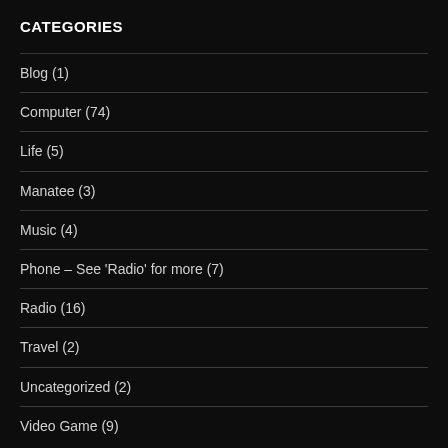CATEGORIES
Blog (1)
Computer (74)
Life (5)
Manatee (3)
Music (4)
Phone – See 'Radio' for more (7)
Radio (16)
Travel (2)
Uncategorized (2)
Video Game (9)